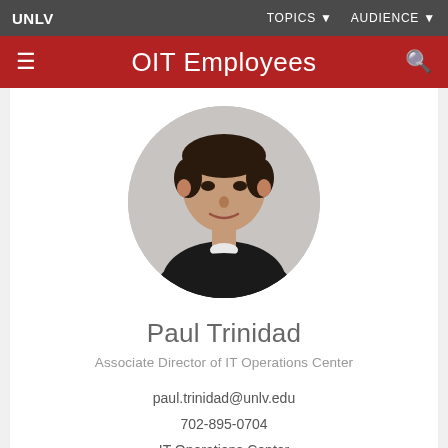UNLV | TOPICS ▼ AUDIENCE ▼
OIT Employees
[Figure (photo): Circular headshot photo of Paul Trinidad, a man wearing a black polo shirt, photographed against a light gray background.]
Paul Trinidad
Associate Director of IT Operations Center
paul.trinidad@unlv.edu
702-895-0704
IT Operations Center